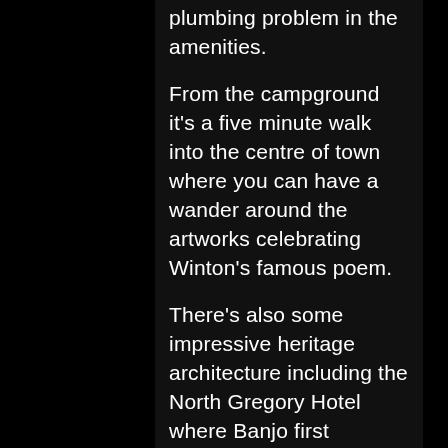plumbing problem in the amenities.
From the campground it's a five minute walk into the centre of town where you can have a wander around the artworks celebrating Winton's famous poem.
There's also some impressive heritage architecture including the North Gregory Hotel where Banjo first performed Waltzing Matilda. It's worth going inside to see the glass etchings of scenes from the poem by Daphne Mayo. She went on to sculpt the frieze above the columns on the front of Brisbane City Hall.